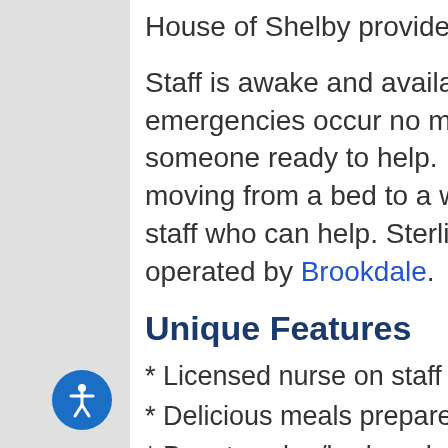House of Shelby provides meals for residents.
Staff is awake and available 24 hours a day so if any emergencies occur no matter the time, there will be someone ready to help. If a resident needs assistance moving from a bed to a wheelchair, this facility has staff who can help. Sterling House of Shelby is operated by Brookdale.
Unique Features
* Licensed nurse on staff
* Delicious meals prepared by licensed dietician
* Beauty salon/barber shop / spa
* Emergency response system
* Individual climate control in room